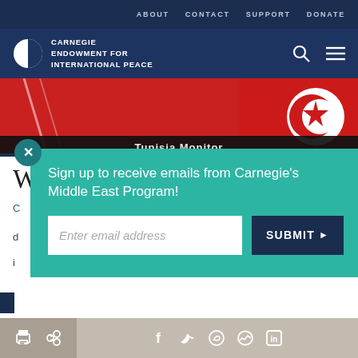ABOUT  CONTACT  SUPPORT  DONATE
[Figure (logo): Carnegie Endowment for International Peace logo with globe icon and white text]
[Figure (photo): Photo showing a Tunisian flag (red with white crescent and star) being held up, with a dark overlay strip at the bottom]
Sign up to receive emails from Carnegie's Middle East Program!
Enter email address
SUBMIT ▶
GBV cases have spiked globally, and in Tunisia, the
Print  Share  Facebook  Twitter  WhatsApp  Messenger  LinkedIn